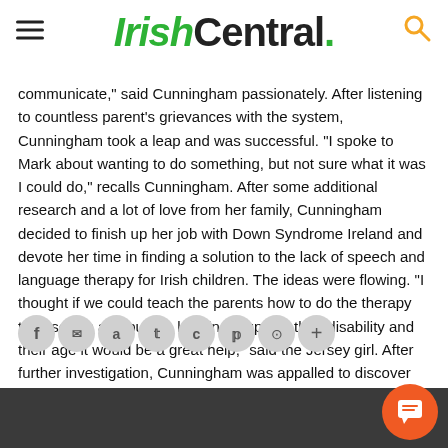IrishCentral.
communicate," said Cunningham passionately. After listening to countless parent's grievances with the system, Cunningham took a leap and was successful. "I spoke to Mark about wanting to do something, but not sure what it was I could do," recalls Cunningham. After some additional research and a lot of love from her family, Cunningham decided to finish up her job with Down Syndrome Ireland and devote her time in finding a solution to the lack of speech and language therapy for Irish children. The ideas were flowing. "I thought if we could teach the parents how to do the therapy themselves and put the kids in groups by their disability and their age it would be a great help," said the Jersey girl. After further investigation, Cunningham was appalled to discover that 72% of speech and language vacancies in Ireland had not been filled. "There was no qualified therapists out there," she said. Faced with [social icons overlay] ward w... qualified...Cunningham...